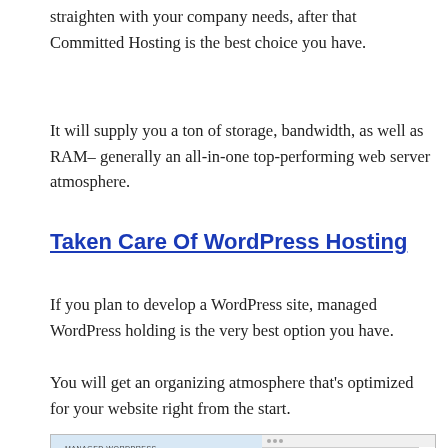straighten with your company needs, after that Committed Hosting is the best choice you have.
It will supply you a ton of storage, bandwidth, as well as RAM– generally an all-in-one top-performing web server atmosphere.
Taken Care Of WordPress Hosting
If you plan to develop a WordPress site, managed WordPress holding is the very best option you have.
You will get an organizing atmosphere that's optimized for your website right from the start.
[Figure (screenshot): Screenshot of a Managed WordPress hosting page showing the heading 'Hosting that grows with your success.' and a photo of a person on a motorbike. The left side has a light blue background with bold heading text and small subtext. The right side shows a website browser mockup overlaid on a coastal photo.]